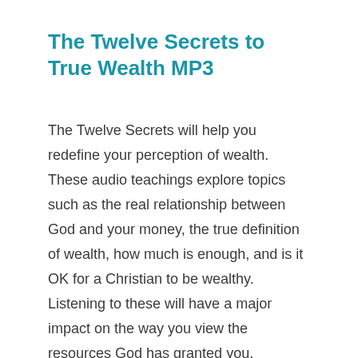The Twelve Secrets to True Wealth MP3
The Twelve Secrets will help you redefine your perception of wealth. These audio teachings explore topics such as the real relationship between God and your money, the true definition of wealth, how much is enough, and is it OK for a Christian to be wealthy. Listening to these will have a major impact on the way you view the resources God has granted you.